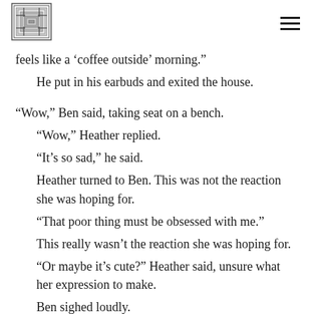[logo] [hamburger menu]
feels like a ‘coffee outside’ morning.”
He put in his earbuds and exited the house.
“Wow,” Ben said, taking seat on a bench.
“Wow,” Heather replied.
“It’s so sad,” he said.
Heather turned to Ben. This was not the reaction she was hoping for.
“That poor thing must be obsessed with me.”
This really wasn’t the reaction she was hoping for.
“Or maybe it’s cute?” Heather said, unsure what her expression to make.
Ben sighed loudly.
“I guess I might have to take him back,” he said in an